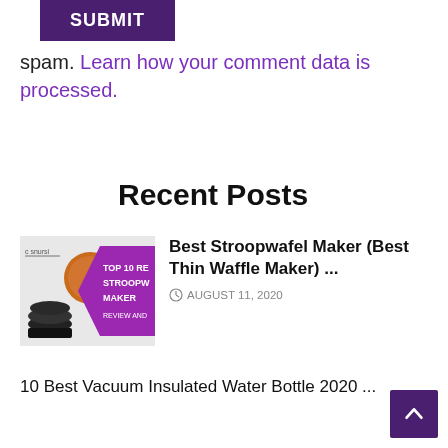[Figure (screenshot): Purple SUBMIT button partially visible at top]
spam. Learn how your comment data is processed.
Recent Posts
[Figure (illustration): Thumbnail image for Best Stroopwafel Maker post showing a stroopwafel and text 'TOP 10 RE STROOPW MAKER REVIEW AND' on purple background]
Best Stroopwafel Maker (Best Thin Waffle Maker) ...
AUGUST 11, 2020
10 Best Vacuum Insulated Water Bottle 2020 ...
[Figure (screenshot): Purple back-to-top arrow button in bottom right corner]